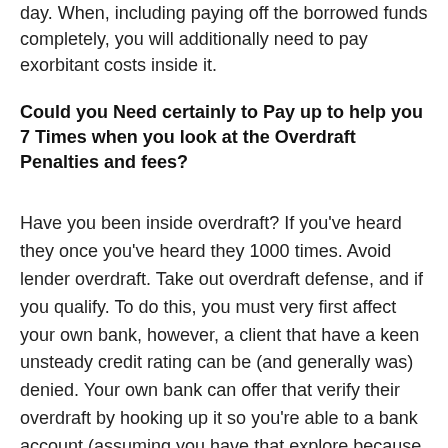day. When, including paying off the borrowed funds completely, you will additionally need to pay exorbitant costs inside it.
Could you Need certainly to Pay up to help you 7 Times when you look at the Overdraft Penalties and fees?
Have you been inside overdraft? If you've heard they once you've heard they 1000 times. Avoid lender overdraft. Take out overdraft defense, and if you qualify. To do this, you must very first affect your own bank, however, a client that have a keen unsteady credit rating can be (and generally was) denied. Your own bank can offer that verify their overdraft by hooking up it so you're able to a bank account (assuming you have that explore because the collateral).Which is understandable, however it can get at some point need you to liquidate any